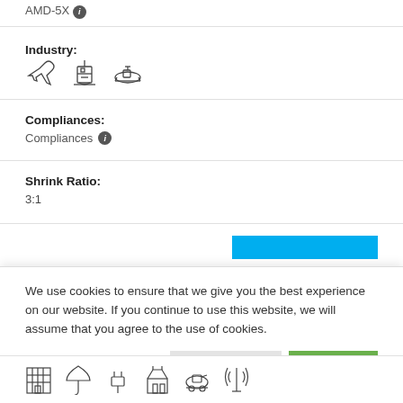AMD-SX
Industry:
[Figure (illustration): Three industry icons: airplane, lighthouse/ferry, submarine/naval vessel]
Compliances:
Compliances (info icon)
Shrink Ratio:
3:1
[Figure (illustration): Blue button bar partially visible]
We use cookies to ensure that we give you the best experience on our website. If you continue to use this website, we will assume that you agree to the use of cookies.
READ MORE | ACCEPT
[Figure (illustration): Six industry icons at the bottom: building, umbrella/construction, plug, chemical plant, tank, antenna/tower]